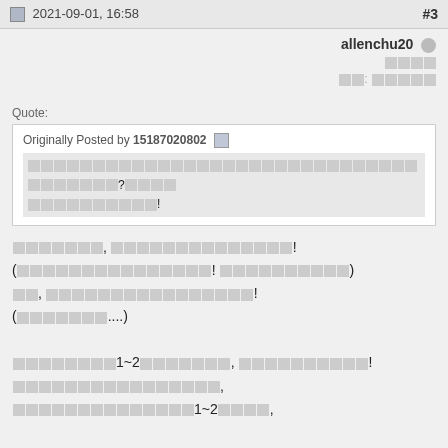2021-09-01, 16:58  #3
allenchu20 [user avatar]
[Chinese characters - user rank]
[Chinese characters - user info]
Quote:
Originally Posted by 15187020802 [Chinese quoted text]
[Chinese post text lines 1-4]
[Chinese post text lines 5-7]